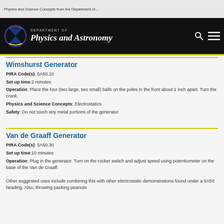Physics and Science Concepts from the Department of...
[Figure (logo): Department of Physics and Astronomy logo with hourglass/bowtie icon and navigation icons]
Wimshurst Generator
PIRA Code(s): 5A50.10
Set up time: 2 minutes
Operation: Place the four (two large, two small) balls on the poles in the front about 1 inch apart. Turn the crank.
Physics and Science Concepts: Electrostatics
Safety: Do not touch any metal portions of the generator
Van de Graaff Generator
PIRA Code(s): 5A50.30
Set up time: 10 minutes
Operation: Plug in the generator. Turn on the rocker switch and adjust speed using potentiometer on the base of the Van de Graaff.
Other suggested uses include combining this with other electrostatic demonstrations found under a 5A50 heading. Also, throwing packing peanuts